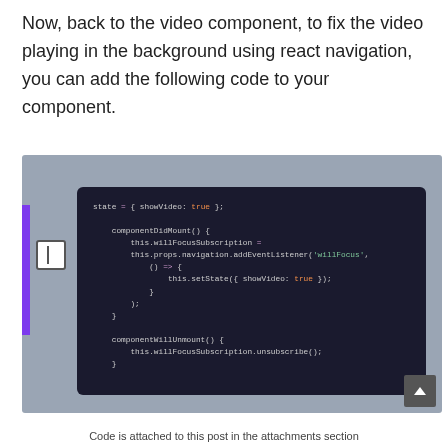Now, back to the video component, to fix the video playing in the background using react navigation, you can add the following code to your component.
[Figure (screenshot): Dark-themed code editor screenshot showing JavaScript/React class component code with state, componentDidMount, and componentWillUnmount lifecycle methods with willFocusSubscription handling]
Code is attached to this post in the attachments section